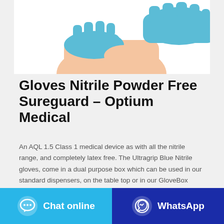[Figure (photo): Hands wearing blue nitrile medical gloves — one hand being donned over a wrist, photographed against a white background]
Gloves Nitrile Powder Free Sureguard – Optium Medical
An AQL 1.5 Class 1 medical device as with all the nitrile range, and completely latex free. The Ultragrip Blue Nitrile gloves, come in a dual purpose box which can be used in our standard dispensers, on the table top or in our GloveBox dispenser. 100 pieces per box.